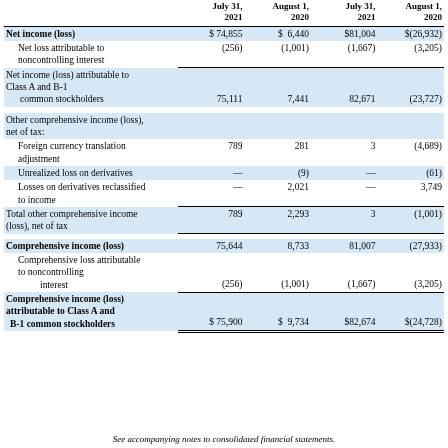|  | July 31, 2021 | August 1, 2020 | July 31, 2021 | August 1, 2020 |
| --- | --- | --- | --- | --- |
| Net income (loss) | $ 74,855 | $  6,440 | $81,004 | $(26,932) |
| Net loss attributable to noncontrolling interest | (256) | (1,001) | (1,667) | (3,205) |
| Net income (loss) attributable to Class A and B-1 common stockholders | 75,111 | 7,441 | 82,671 | (23,727) |
| Other comprehensive income (loss), net of tax: |  |  |  |  |
| Foreign currency translation adjustment | 789 | 281 | 3 | (4,689) |
| Unrealized loss on derivatives | — | (9) | — | (61) |
| Losses on derivatives reclassified to income | — | 2,021 | — | 3,749 |
| Total other comprehensive income (loss), net of tax | 789 | 2,293 | 3 | (1,001) |
| Comprehensive income (loss) | 75,644 | 8,733 | 81,007 | (27,933) |
| Comprehensive loss attributable to noncontrolling interest | (256) | (1,001) | (1,667) | (3,205) |
| Comprehensive income (loss) attributable to Class A and B-1 common stockholders | $75,900 | $  9,734 | $82,674 | $(24,728) |
See accompanying notes to consolidated financial statements.